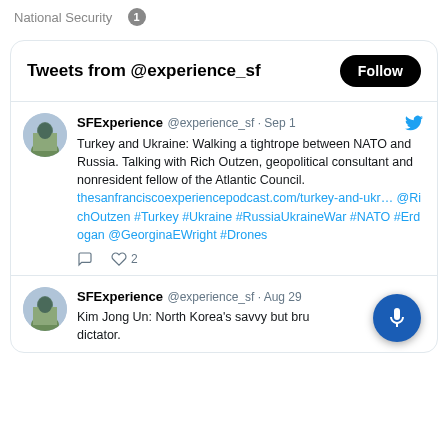National Security  1
[Figure (screenshot): Twitter/X widget showing tweets from @experience_sf with Follow button]
SFExperience @experience_sf · Sep 1
Turkey and Ukraine: Walking a tightrope between NATO and Russia. Talking with Rich Outzen, geopolitical consultant and nonresident fellow of the Atlantic Council.
thesanfranciscoexperiencepodcast.com/turkey-and-ukr… @RichOutzen #Turkey #Ukraine #RussiaUkraineWar #NATO #Erdogan @GeorginaEWright #Drones
SFExperience @experience_sf · Aug 29
Kim Jong Un: North Korea's savvy but brutal dictator.